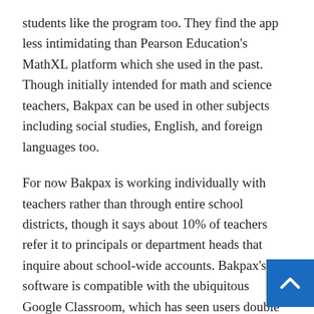students like the program too. They find the app less intimidating than Pearson Education's MathXL platform which she used in the past. Though initially intended for math and science teachers, Bakpax can be used in other subjects including social studies, English, and foreign languages too.
For now Bakpax is working individually with teachers rather than through entire school districts, though it says about 10% of teachers refer it to principals or department heads that inquire about school-wide accounts. Bakpax's software is compatible with the ubiquitous Google Classroom, which has seen users double during the pandemic to 100 million. With Google Classroom, kids can access their Bakpax account directly with their Google login. The software is also integrated with Microsoft Teams and will be compatible with other